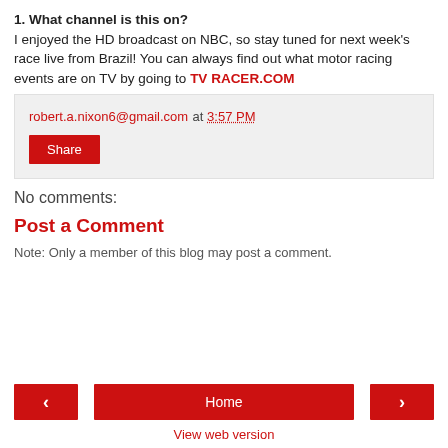1.  What channel is this on?
I enjoyed the HD broadcast on NBC, so stay tuned for next week's race live from Brazil!  You can always find out what motor racing events are on TV by going to TV RACER.COM
robert.a.nixon6@gmail.com at 3:57 PM
Share
No comments:
Post a Comment
Note: Only a member of this blog may post a comment.
< Home > View web version